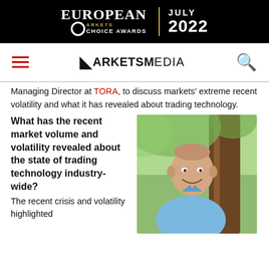[Figure (logo): European Markets Choice Awards banner, black background with gold accent, JULY 2022]
MARKETS MEDIA navigation bar with hamburger menu, logo and search icon
Managing Director at TORA, to discuss markets' extreme recent volatility and what it has revealed about trading technology.
What has the recent market volume and volatility revealed about the state of trading technology industry-wide?
[Figure (photo): Portrait photograph of a bald smiling man in a light blue shirt, standing in front of a large tree trunk with green foliage background]
The recent crisis and volatility highlighted...